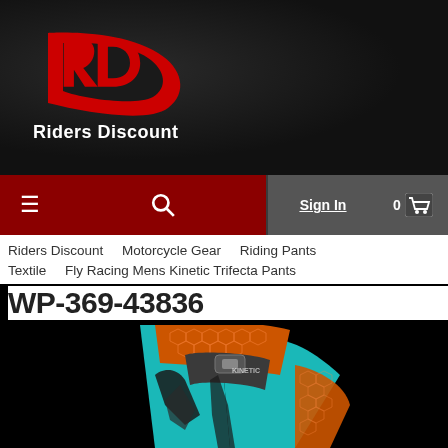[Figure (logo): Riders Discount logo - red stylized RD letters with white text 'Riders Discount' below, on dark leather-textured background]
≡   🔍   Sign In   0 🛒
Riders Discount   Motorcycle Gear   Riding Pants   Textile   Fly Racing Mens Kinetic Trifecta Pants
WP-369-43836
[Figure (photo): Fly Racing Mens Kinetic Trifecta Pants product photo - teal/cyan, orange and dark grey motocross pants displayed folded, showing geometric hexagon pattern and tribal graphics]